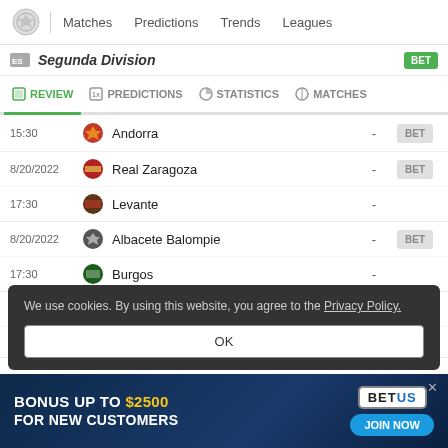Matches  Predictions  Trends  Leagues
Segunda Division
REVIEW  PREDICTIONS  STATISTICS  MATCHES
| Time/Date | Team | Score |  |
| --- | --- | --- | --- |
| 15:30 | Andorra | - | BET |
| 8/20/2022 | Real Zaragoza | - | BET |
| 17:30 | Levante | - | BET |
| 8/20/2022 | Albacete Balompie | - | BET |
| 17:30 | Burgos | - | BET |
| 8/20/2022 | Granada | - | BET |
| 20:00 | Racing | - | BET |
We use cookies. By using this website, you agree to the Privacy Policy.
OK
BONUS UP TO $2500 FOR NEW CUSTOMERS  BETUS JOIN NOW